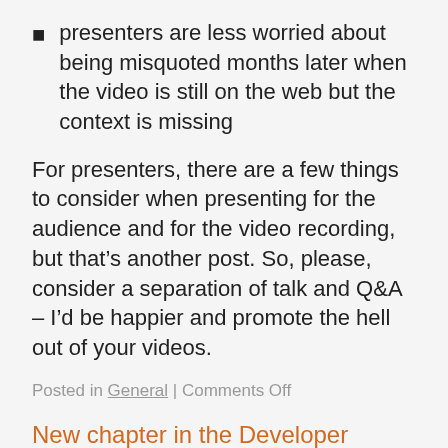presenters are less worried about being misquoted months later when the video is still on the web but the context is missing
For presenters, there are a few things to consider when presenting for the audience and for the video recording, but that’s another post. So, please, consider a separation of talk and Q&A – I’d be happier and promote the hell out of your videos.
Posted in General | Comments Off
New chapter in the Developer Evangelism handbook: keeping time in presentations